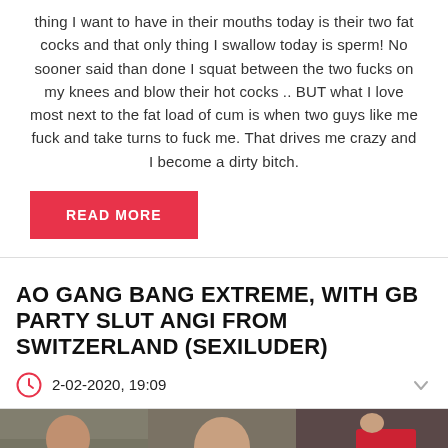thing I want to have in their mouths today is their two fat cocks and that only thing I swallow today is sperm! No sooner said than done I squat between the two fucks on my knees and blow their hot cocks .. BUT what I love most next to the fat load of cum is when two guys like me fuck and take turns to fuck me. That drives me crazy and I become a dirty bitch.
READ MORE
AO GANG BANG EXTREME, WITH GB PARTY SLUT ANGI FROM SWITZERLAND (SEXILUDER)
2-02-2020, 19:09
[Figure (photo): Three-panel photo strip showing adult content. Left panel shows older man with gray hair. Middle panel shows bald man. Right panel shows person in red clothing with black stockings. Green text overlay reading '6 Hägn' visible on left side.]